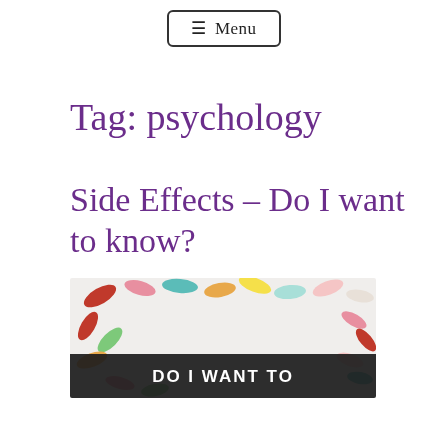☰ Menu
Tag: psychology
Side Effects – Do I want to know?
[Figure (photo): Colorful assorted pills and capsules scattered on a white background with a dark banner at the bottom reading 'DO I WANT TO']